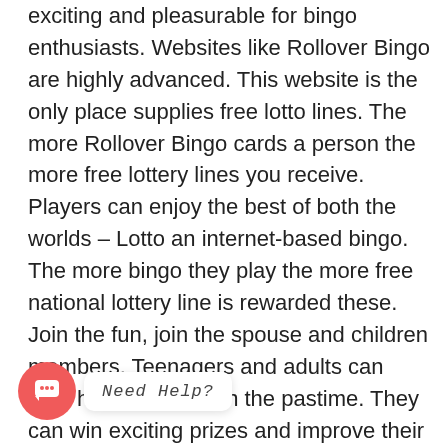exciting and pleasurable for bingo enthusiasts. Websites like Rollover Bingo are highly advanced. This website is the only place supplies free lotto lines. The more Rollover Bingo cards a person the more free lottery lines you receive. Players can enjoy the best of both the worlds – Lotto an internet-based bingo. The more bingo they play the more free national lottery line is rewarded these. Join the fun, join the spouse and children members. Teenagers and adults can both have pleasure in the pastime. They can win exciting prizes and improve their mental alertness in incorporate different marketing methods. They are organizing to become less forgetful after playing bingo and improve a player's multi-tasking capabilities too.